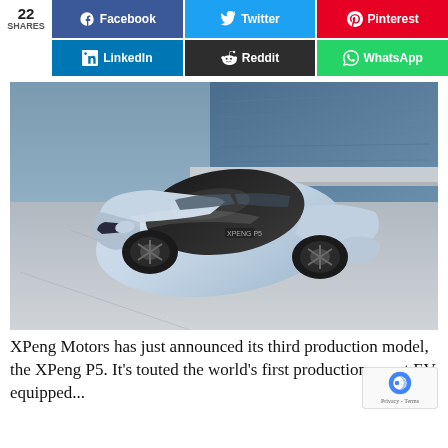[Figure (infographic): Social share buttons row 1: share count 22, Facebook, Twitter, Pinterest buttons]
[Figure (infographic): Social share buttons row 2: LinkedIn, Reddit, WhatsApp buttons]
[Figure (photo): Top-down angled photo of XPeng P5 silver electric sedan parked near water]
XPeng Motors has just announced its third production model, the XPeng P5. It's touted the world's first production smart EV equipped...